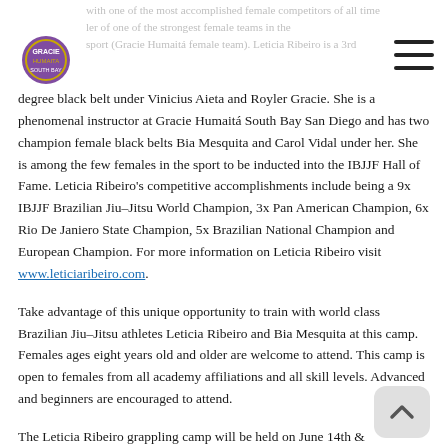[Figure (logo): Martial arts / jiu-jitsu logo in purple and gold, circular design]
with one of the most accomplished female competitors of all time ler of one of the strongest female teams in the sport (Gracie Humaitá female team).
degree black belt under Vinicius Aieta and Royler Gracie. She is a phenomenal instructor at Gracie Humaitá South Bay San Diego and has two champion female black belts Bia Mesquita and Carol Vidal under her. She is among the few females in the sport to be inducted into the IBJJF Hall of Fame. Leticia Ribeiro's competitive accomplishments include being a 9x IBJJF Brazilian Jiu-Jitsu World Champion, 3x Pan American Champion, 6x Rio De Janiero State Champion, 5x Brazilian National Champion and European Champion. For more information on Leticia Ribeiro visit www.leticiaribeiro.com.
Take advantage of this unique opportunity to train with world class Brazilian Jiu-Jitsu athletes Leticia Ribeiro and Bia Mesquita at this camp. Females ages eight years old and older are welcome to attend. This camp is open to females from all academy affiliations and all skill levels. Advanced and beginners are encouraged to attend.
The Leticia Ribeiro grappling camp will be held on June 14th &